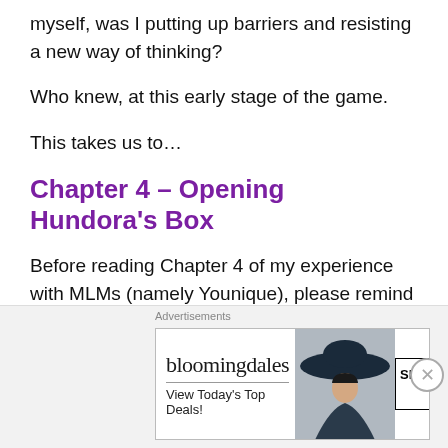myself, was I putting up barriers and resisting a new way of thinking?
Who knew, at this early stage of the game.
This takes us to…
Chapter 4 – Opening Hundora's Box
Before reading Chapter 4 of my experience with MLMs (namely Younique), please remind yourself of my mission statement here.  In a
[Figure (infographic): Bloomingdale's advertisement banner showing logo, 'View Today's Top Deals!' tagline, a woman in a hat, and a 'SHOP NOW >' button.]